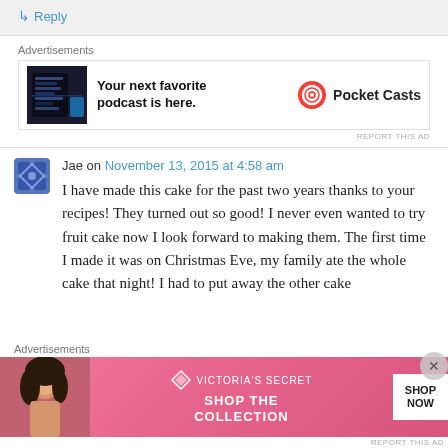↳ Reply
Advertisements
[Figure (screenshot): Pocket Casts podcast app advertisement showing phone with dark UI and text: Your next favorite podcast is here.]
REPORT THIS AD
Jae on November 13, 2015 at 4:58 am
I have made this cake for the past two years thanks to your recipes! They turned out so good! I never even wanted to try fruit cake now I look forward to making them. The first time I made it was on Christmas Eve, my family ate the whole cake that night! I had to put away the other cake
Advertisements
[Figure (screenshot): Victoria's Secret advertisement: Shop The Collection with Shop Now button on pink background with model]